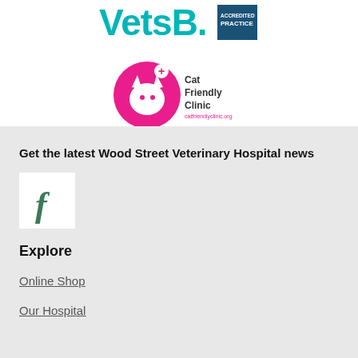[Figure (logo): VetsBD logo in teal/turquoise text and RCVS Accredited Practice badge in blue]
[Figure (logo): Cat Friendly Clinic logo with pink cat silhouette icon and text reading 'Cat Friendly Clinic']
Get the latest Wood Street Veterinary Hospital news
[Figure (logo): Facebook icon - lowercase f in green on white square background]
Explore
Online Shop
Our Hospital